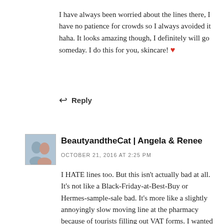I have always been worried about the lines there, I have no patience for crowds so I always avoided it haha. It looks amazing though, I definitely will go someday. I do this for you, skincare! ❤
↩ Reply
[Figure (photo): Small avatar photo of two women]
BeautyandtheCat | Angela & Renee
OCTOBER 21, 2016 AT 2:25 PM
I HATE lines too. But this isn't actually bad at all. It's not like a Black-Friday-at-Best-Buy or Hermes-sample-sale bad. It's more like a slightly annoyingly slow moving line at the pharmacy because of tourists filling out VAT forms. I wanted to leave after 10 minutes but Angela made me stay. After 20 minutes I was at the register. So in the context of all bad lines, this is ok =)